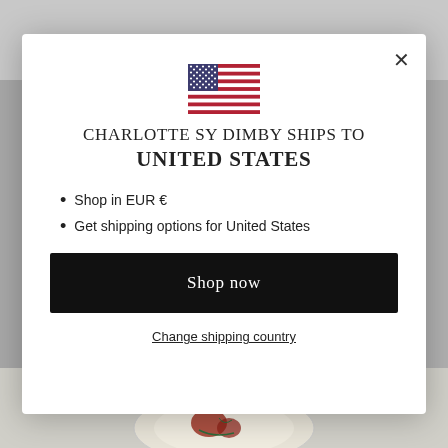[Figure (illustration): Background screenshot of an e-commerce website showing a logo at top and a decorative plate at bottom, overlaid with a modal dialog]
[Figure (illustration): US flag icon centered at top of modal]
CHARLOTTE SY DIMBY SHIPS TO UNITED STATES
Shop in EUR €
Get shipping options for United States
Shop now
Change shipping country